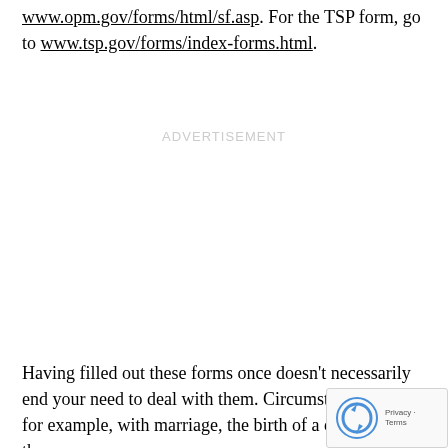www.opm.gov/forms/html/sf.asp. For the TSP form, go to www.tsp.gov/forms/index-forms.html.
ADVERTISEMENT
Having filled out these forms once doesn't necessari… your need to deal with them. Circumstances change, … example, with marriage, the birth of a child, divorce, the